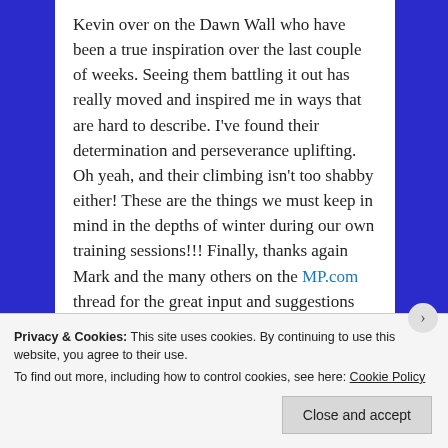Kevin over on the Dawn Wall who have been a true inspiration over the last couple of weeks. Seeing them battling it out has really moved and inspired me in ways that are hard to describe. I've found their determination and perseverance uplifting. Oh yeah, and their climbing isn't too shabby either! These are the things we must keep in mind in the depths of winter during our own training sessions!!! Finally, thanks again Mark and the many others on the MP.com thread for the great input and suggestions for the RPTC installation.
★ Like
Reply
Privacy & Cookies: This site uses cookies. By continuing to use this website, you agree to their use.
To find out more, including how to control cookies, see here: Cookie Policy
Close and accept